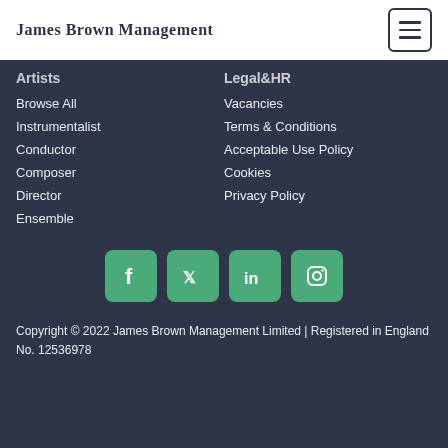James Brown Management
Artists
Browse All
Instrumentalist
Conductor
Composer
Director
Ensemble
Legal&HR
Vacancies
Terms & Conditions
Acceptable Use Policy
Cookies
Privacy Policy
[Figure (logo): Social media icons: Facebook, Twitter, LinkedIn, Instagram in green rounded square buttons]
Copyright © 2022 James Brown Management Limited | Registered in England No. 12536978